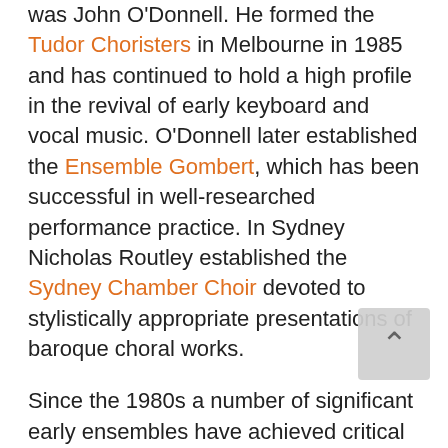was John O'Donnell. He formed the Tudor Choristers in Melbourne in 1985 and has continued to hold a high profile in the revival of early keyboard and vocal music. O'Donnell later established the Ensemble Gombert, which has been successful in well-researched performance practice. In Sydney Nicholas Routley established the Sydney Chamber Choir devoted to stylistically appropriate presentations of baroque choral works.
Since the 1980s a number of significant early ensembles have achieved critical acclaim and strong community support for their performances. These include the Sydney Baroque, Sydney based Australian Brandenburg Orchestra, Sydney and Canberra based Salut! Baroque, Melbourne based Cappella Corelli, and Elysium Ensemble and Adelaide-based Musica da Camera, to name but a few.
In addition, attempts by mainstream Australian classical music organisations have devoted attention